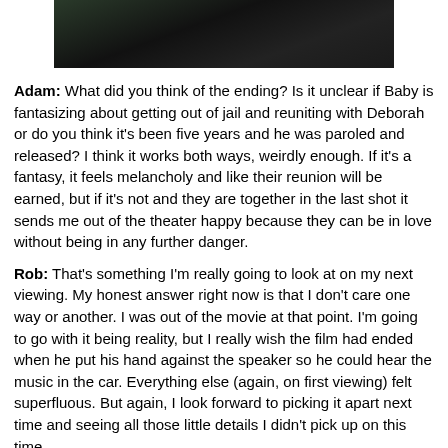[Figure (photo): A dark screenshot from a movie, showing a dimly lit scene.]
Adam: What did you think of the ending? Is it unclear if Baby is fantasizing about getting out of jail and reuniting with Deborah or do you think it's been five years and he was paroled and released? I think it works both ways, weirdly enough. If it's a fantasy, it feels melancholy and like their reunion will be earned, but if it's not and they are together in the last shot it sends me out of the theater happy because they can be in love without being in any further danger.
Rob: That's something I'm really going to look at on my next viewing. My honest answer right now is that I don't care one way or another. I was out of the movie at that point. I'm going to go with it being reality, but I really wish the film had ended when he put his hand against the speaker so he could hear the music in the car. Everything else (again, on first viewing) felt superfluous. But again, I look forward to picking it apart next time and seeing all those little details I didn't pick up on this time.
Adam: Were you rushing out of the theater to catch a